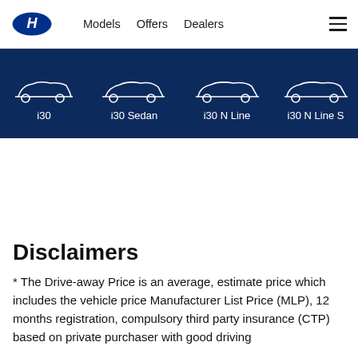Models  Offers  Dealers
[Figure (illustration): Dark blue navigation banner showing car silhouette outlines for four Hyundai i30 variants: i30, i30 Sedan, i30 N Line, i30 N Line S (partially visible). Each variant has a white outline car icon above its label in white text.]
Disclaimers
* The Drive-away Price is an average, estimate price which includes the vehicle price Manufacturer List Price (MLP), 12 months registration, compulsory third party insurance (CTP) based on private purchaser with good driving